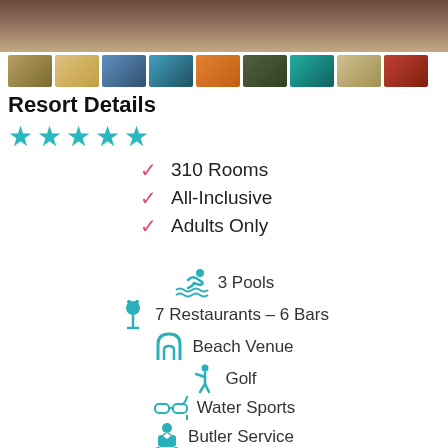[Figure (photo): Top banner photo of resort, dark brown tones]
[Figure (photo): Strip of 9 small thumbnail photos of resort areas]
Resort Details
[Figure (other): 5 teal/cyan stars rating]
310 Rooms
All-Inclusive
Adults Only
3 Pools
7 Restaurants – 6 Bars
Beach Venue
Golf
Water Sports
Butler Service